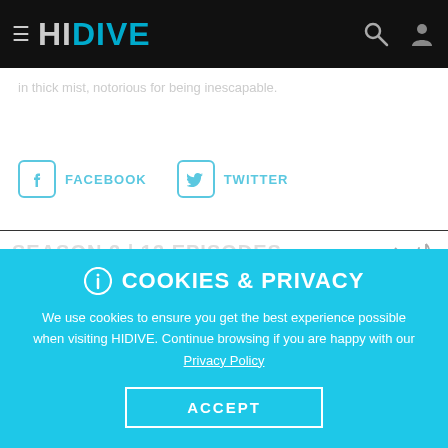HI DIVE — navigation header with hamburger menu, search icon, and user icon
in thick mist, notorious for being inescapable.
FACEBOOK   TWITTER
SEASON 2 | 13 EPISODES
[Figure (screenshot): Two anime episode thumbnails side by side with play button overlays. Left thumbnail shows mountainous landscape scene. Right thumbnail shows an indoor scene with a character.]
ⓘ COOKIES & PRIVACY

We use cookies to ensure you get the best experience possible when visiting HIDIVE. Continue browsing if you are happy with our Privacy Policy

ACCEPT